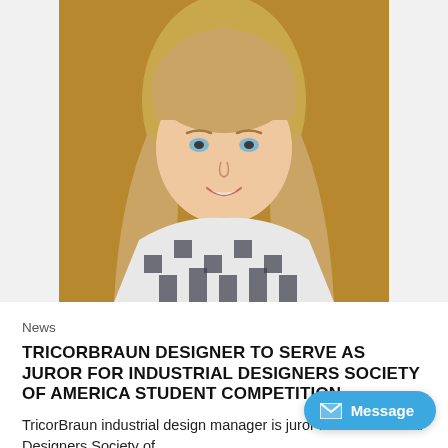[Figure (photo): Professional headshot of a young woman with long blonde hair, wearing a black and white plaid/checkered shirt, smiling, against a warm brown/tan background.]
News
TRICORBRAUN DESIGNER TO SERVE AS JUROR FOR INDUSTRIAL DESIGNERS SOCIETY OF AMERICA STUDENT COMPETITION
TricorBraun industrial design manager is juror for the Industrial Designers Society of